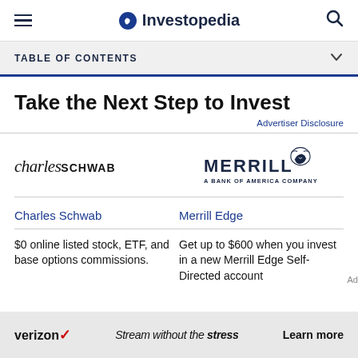Investopedia
TABLE OF CONTENTS
Take the Next Step to Invest
Advertiser Disclosure
[Figure (logo): Charles Schwab logo]
[Figure (logo): Merrill — A Bank of America Company logo]
Charles Schwab
Merrill Edge
$0 online listed stock, ETF, and base options commissions.
Get up to $600 when you invest in a new Merrill Edge Self-Directed account
[Figure (advertisement): Verizon ad — Stream without the stress — Learn more]